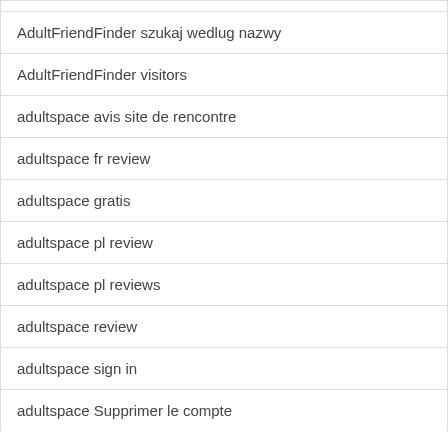| AdultFriendFinder szukaj wedlug nazwy |
| AdultFriendFinder visitors |
| adultspace avis site de rencontre |
| adultspace fr review |
| adultspace gratis |
| adultspace pl review |
| adultspace pl reviews |
| adultspace review |
| adultspace sign in |
| adultspace Supprimer le compte |